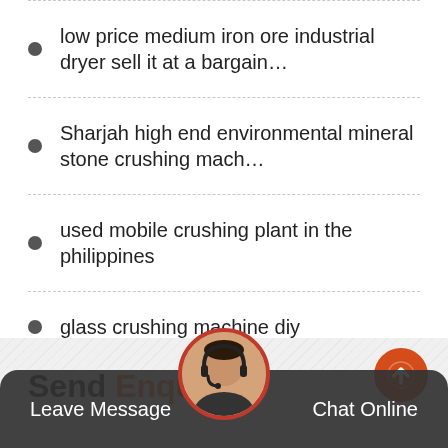low price medium iron ore industrial dryer sell it at a bargain…
Sharjah high end environmental mineral stone crushing mach…
used mobile crushing plant in the philippines
glass crushing machine diy
low price environmental granite agitation tank in Brazil
Send Enquiry
Leave Message
Chat Online
Hello! If you are interested in our products and leave your